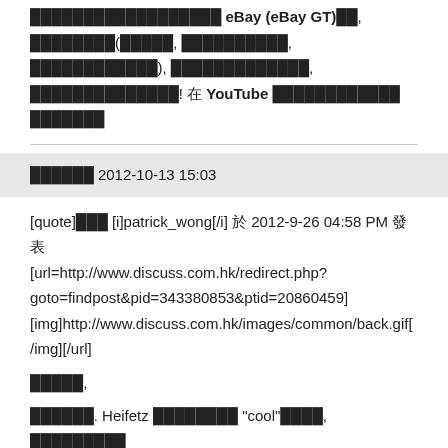██████████████████ eBay (eBay GT)██, ████████(█████, ██████████, ████████████), █████████████, ██████████████! 在 YouTube ████████████ ███████
██████ 2012-10-13 15:03
[quote]███ [i]patrick_wong[/i] 於 2012-9-26 04:58 PM 發表 [url=http://www.discuss.com.hk/redirect.php?goto=findpost&pid=343380853&ptid=20860459] [img]http://www.discuss.com.hk/images/common/back.gif[/img][/url]

█████,

██████. Heifetz ████████ "cool"████, █████████
Elman 與 Heifetz 比較, ████████, ███████ Elman ████████████████, █